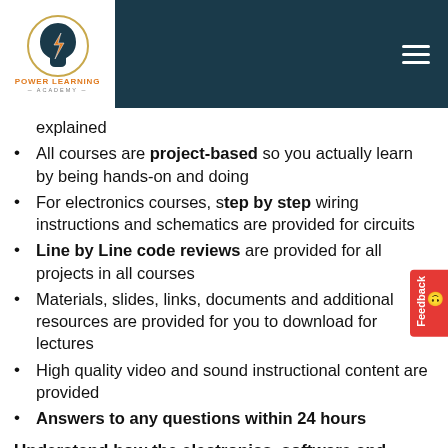Power Learning Academy
explained
All courses are project-based so you actually learn by being hands-on and doing
For electronics courses, step by step wiring instructions and schematics are provided for circuits
Line by Line code reviews are provided for all projects in all courses
Materials, slides, links, documents and additional resources are provided for you to download for lectures
High quality video and sound instructional content are provided
Answers to any questions within 24 hours
Understand how the electronics, software and hardware all play together end to end. This is the